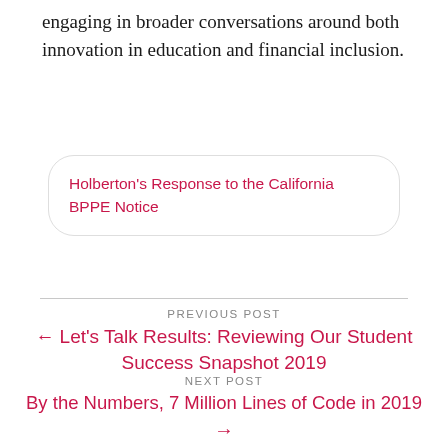engaging in broader conversations around both innovation in education and financial inclusion.
Holberton's Response to the California BPPE Notice
PREVIOUS POST
← Let's Talk Results: Reviewing Our Student Success Snapshot 2019
NEXT POST
By the Numbers, 7 Million Lines of Code in 2019 →